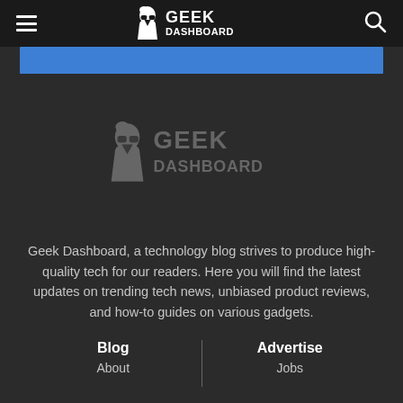Geek Dashboard navigation bar with hamburger menu and search icon
[Figure (screenshot): Blue banner strip below nav bar]
[Figure (logo): Geek Dashboard logo in gray, centered on dark background]
Geek Dashboard, a technology blog strives to produce high-quality tech for our readers. Here you will find the latest updates on trending tech news, unbiased product reviews, and how-to guides on various gadgets.
Blog | Advertise — About | Jobs